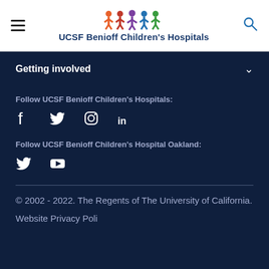UCSF Benioff Children's Hospitals
Getting involved
Follow UCSF Benioff Children's Hospitals:
[Figure (other): Social media icons: Facebook, Twitter, Instagram, LinkedIn]
Follow UCSF Benioff Children's Hospital Oakland:
[Figure (other): Social media icons: Twitter, YouTube]
© 2002 - 2022. The Regents of The University of California.
Website Privacy Policy